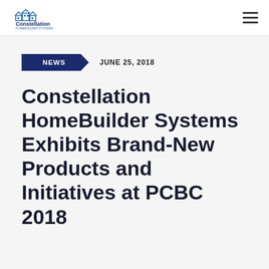Constellation HomeBuilder Systems [logo] [hamburger menu]
NEWS   JUNE 25, 2018
Constellation HomeBuilder Systems Exhibits Brand-New Products and Initiatives at PCBC 2018